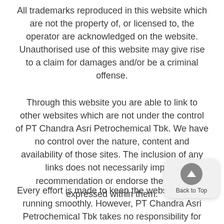All trademarks reproduced in this website which are not the property of, or licensed to, the operator are acknowledged on the website. Unauthorised use of this website may give rise to a claim for damages and/or be a criminal offense.
Through this website you are able to link to other websites which are not under the control of PT Chandra Asri Petrochemical Tbk. We have no control over the nature, content and availability of those sites. The inclusion of any links does not necessarily imply a recommendation or endorse the views expressed within them.
Every effort is made to keep the website up and running smoothly. However, PT Chandra Asri Petrochemical Tbk takes no responsibility for and will not be liable for, the website being temporarily unavailable due to technical issues beyond our control.